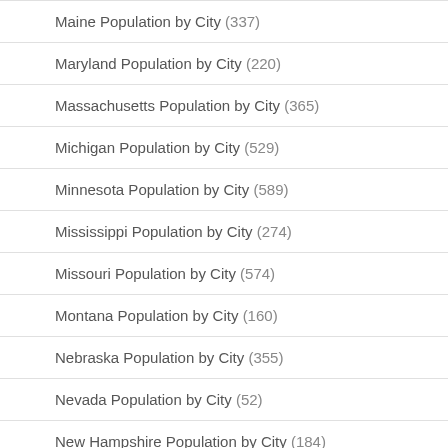Maine Population by City (337)
Maryland Population by City (220)
Massachusetts Population by City (365)
Michigan Population by City (529)
Minnesota Population by City (589)
Mississippi Population by City (274)
Missouri Population by City (574)
Montana Population by City (160)
Nebraska Population by City (355)
Nevada Population by City (52)
New Hampshire Population by City (184)
New Jersey Population by City (377)
New Mexico Population by City (145)
New York Population by City (1,057)